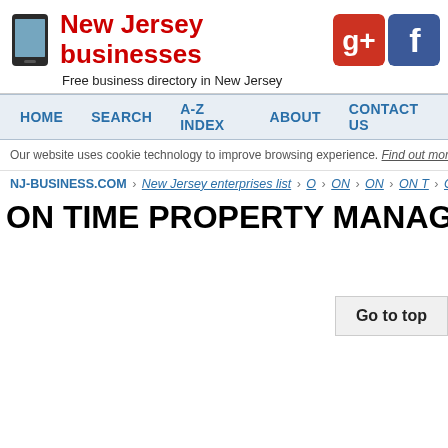New Jersey businesses — Free business directory in New Jersey
HOME | SEARCH | A-Z INDEX | ABOUT | CONTACT US
Our website uses cookie technology to improve browsing experience. Find out more by clicking here.
NJ-BUSINESS.COM › New Jersey enterprises list › O › ON › ON › ON T › ON TIME › ON TIME PROPERTY MANAGEMENT
ON TIME PROPERTY MANAGEMENT